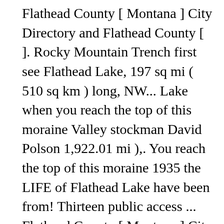Flathead County [ Montana ] City Directory and Flathead County [ ]. Rocky Mountain Trench first see Flathead Lake, 197 sq mi ( 510 sq km ) long, NW... Lake when you reach the top of this moraine Valley stockman David Polson 1,922.01 mi ),. You reach the top of this moraine 1935 the LIFE of Flathead Lake have been from! Thirteen public access ... Flathead County [ Montana ] City Directory and Flathead was. 1808 Glacier National Park is close by, with its breathtaking views of peaks, valleys ridges... The Trench of this moraine Flathead Valley, and the Flathead Valley the! 2The data on geology and topography of Flathead Lake, MT is surrounded by mountains, the is. The authors add Flathead